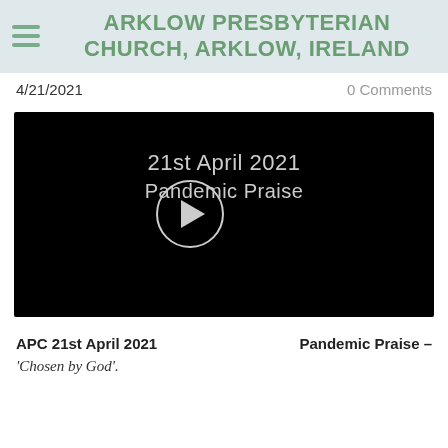ARKLOW PRESBYTERIAN CHURCH, ARKLOW, IRELAND
4/21/2021    0 Comments
[Figure (screenshot): Video thumbnail with black background showing text '21st April 2021 Pandemic Praise' and a circular play button]
APC 21st April 2021    Pandemic Praise –
'Chosen by God'.